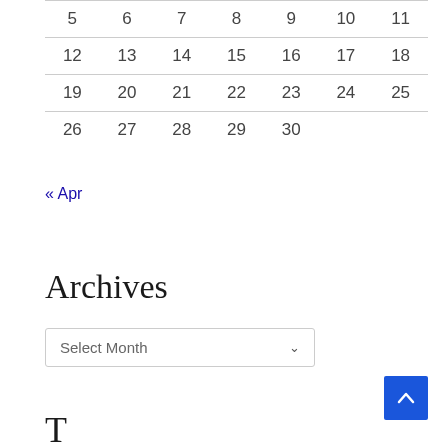| 5 | 6 | 7 | 8 | 9 | 10 | 11 |
| 12 | 13 | 14 | 15 | 16 | 17 | 18 |
| 19 | 20 | 21 | 22 | 23 | 24 | 25 |
| 26 | 27 | 28 | 29 | 30 |  |  |
« Apr
Archives
Select Month
T